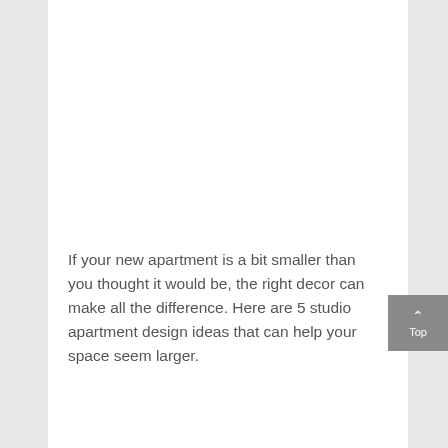If your new apartment is a bit smaller than you thought it would be, the right decor can make all the difference. Here are 5 studio apartment design ideas that can help your space seem larger.